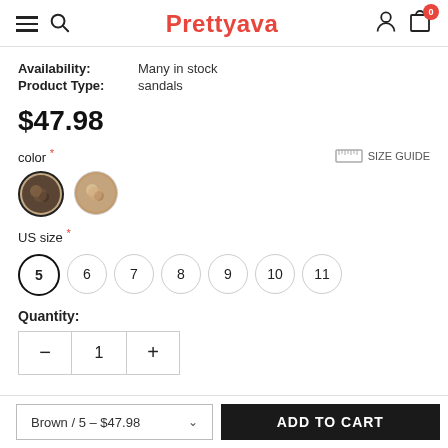Prettyava
Availability: Many in stock
Product Type: sandals
$47.98
color *
[Figure (photo): Two circular color swatches showing sandal colors: dark brown/black and light brown]
US size *
Size options: 5 (selected), 6, 7, 8, 9, 10, 11
Quantity:
Quantity control: minus, 1, plus
Brown / 5 – $47.98
ADD TO CART